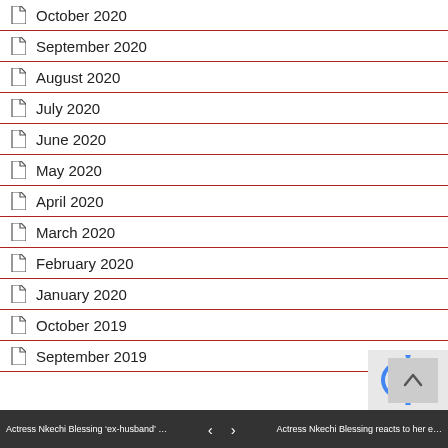October 2020
September 2020
August 2020
July 2020
June 2020
May 2020
April 2020
March 2020
February 2020
January 2020
October 2019
September 2019
Actress Nkechi Blessing ‘ex-husband’ …  ‹  ›  Actress Nkechi Blessing reacts to her e…